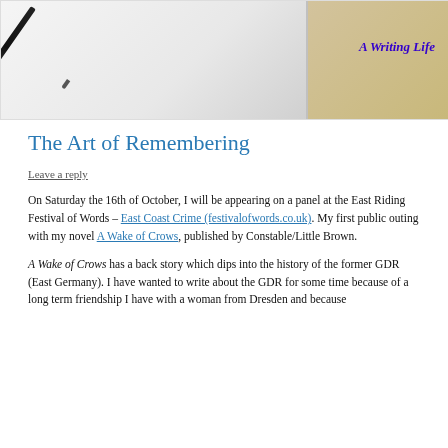[Figure (photo): Photo of a pen lying on a notebook/paper with a wooden surface visible. Text overlay reads 'A Writing Life' in bold italic dark blue/purple.]
The Art of Remembering
Leave a reply
On Saturday the 16th of October, I will be appearing on a panel at the East Riding Festival of Words – East Coast Crime (festivalofwords.co.uk). My first public outing with my novel A Wake of Crows, published by Constable/Little Brown.
A Wake of Crows has a back story which dips into the history of the former GDR (East Germany). I have wanted to write about the GDR for some time because of a long term friendship I have with a woman from Dresden and because